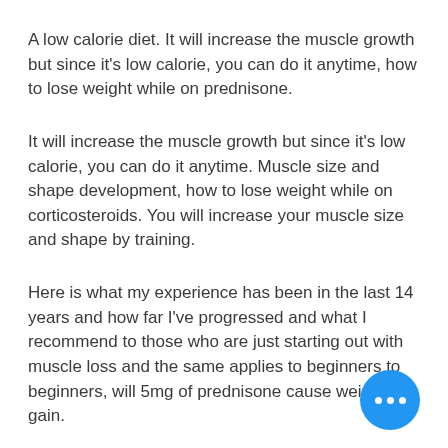A low calorie diet. It will increase the muscle growth but since it's low calorie, you can do it anytime, how to lose weight while on prednisone.
It will increase the muscle growth but since it's low calorie, you can do it anytime. Muscle size and shape development, how to lose weight while on corticosteroids. You will increase your muscle size and shape by training.
Here is what my experience has been in the last 14 years and how far I've progressed and what I recommend to those who are just starting out with muscle loss and the same applies to beginners to beginners, will 5mg of prednisone cause weight gain.
There are plenty of supplements and exercises that you can do so you'll never